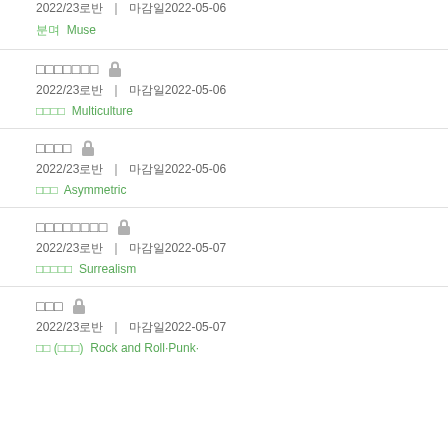2022/23기기 | 기기기2022-05-06 | 기기 Muse
기기기기기기기 🔒 | 2022/23기기 | 기기기2022-05-06 | 기기기기 Multiculture
기기기기 🔒 | 2022/23기기 | 기기기2022-05-06 | 기기기 Asymmetric
기기기기기기기기 🔒 | 2022/23기기 | 기기기2022-05-07 | 기기기기기 Surrealism
기기기 🔒 | 2022/23기기 | 기기기2022-05-07 | 기기 (기기기) Rock and Roll·Punk·